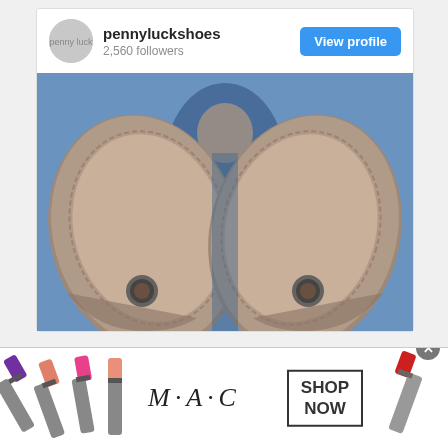[Figure (screenshot): Instagram profile card for pennyluckshoes showing username, 2,560 followers, View profile button, and a photo of two suede penny loafers (soles facing camera) with a man in a suit blurred in the background]
pennyluckshoes
2,560 followers
View profile
[Figure (photo): Close-up photo of two suede penny loafers showing the soles with coin slots, man in blue suit blurred in background]
[Figure (infographic): MAC Cosmetics advertisement banner showing lipsticks on the left and right, MAC logo in the center, and a SHOP NOW button]
M·A·C
SHOP NOW